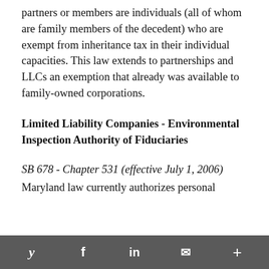partners or members are individuals (all of whom are family members of the decedent) who are exempt from inheritance tax in their individual capacities. This law extends to partnerships and LLCs an exemption that already was available to family-owned corporations.
Limited Liability Companies - Environmental Inspection Authority of Fiduciaries
SB 678 - Chapter 531 (effective July 1, 2006)
Maryland law currently authorizes personal
y  f  in  ✉  +